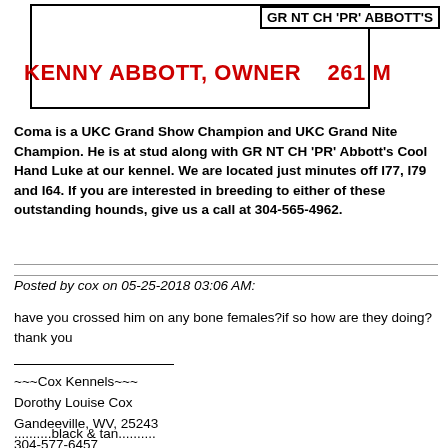GR NT CH 'PR' ABBOTT'S
KENNY ABBOTT, OWNER   261 M
Coma is a UKC Grand Show Champion and UKC Grand Nite Champion. He is at stud along with GR NT CH 'PR' Abbott's Cool Hand Luke at our kennel. We are located just minutes off I77, I79 and I64. If you are interested in breeding to either of these outstanding hounds, give us a call at 304-565-4962.
Posted by cox on 05-25-2018 03:06 AM:
have you crossed him on any bone females?if so how are they doing? thank you
~~~Cox Kennels~~~
Dorothy Louise Cox
Gandeeville, WV, 25243
304-577-6457
..........black & tan..........